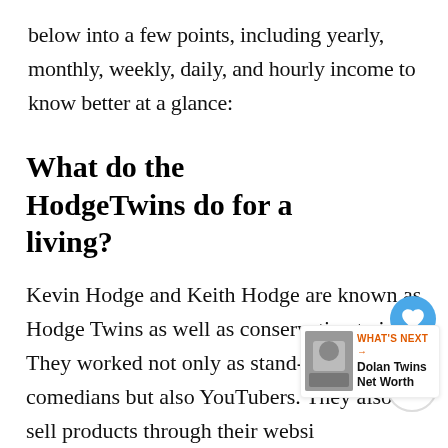below into a few points, including yearly, monthly, weekly, daily, and hourly income to know better at a glance:
What do the HodgeTwins do for a living?
Kevin Hodge and Keith Hodge are known as Hodge Twins as well as conservative twi[ns.] They worked not only as stand-up comedians but also YouTubers. They also sell products through their websi[te and] the possible sources of their earnings have